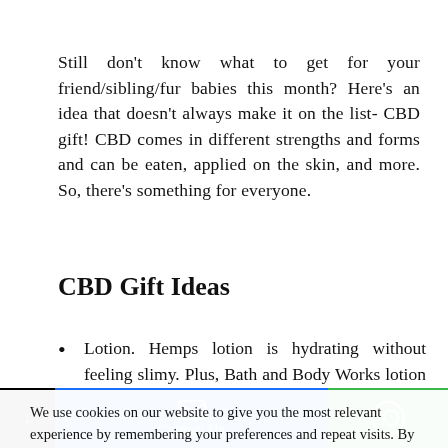Still don't know what to get for your friend/sibling/fur babies this month? Here's an idea that doesn't always make it on the list- CBD gift! CBD comes in different strengths and forms and can be eaten, applied on the skin, and more. So, there's something for everyone.
CBD Gift Ideas
Lotion. Hemps lotion is hydrating without feeling slimy. Plus, Bath and Body Works lotion is overdone and the giftee probably
We use cookies on our website to give you the most relevant experience by remembering your preferences and repeat visits. By clicking “Accept All”, you consent to the use of ALL the cookies. However, you may visit "Cookie Settings" to provide a controlled consent.
Contact Us